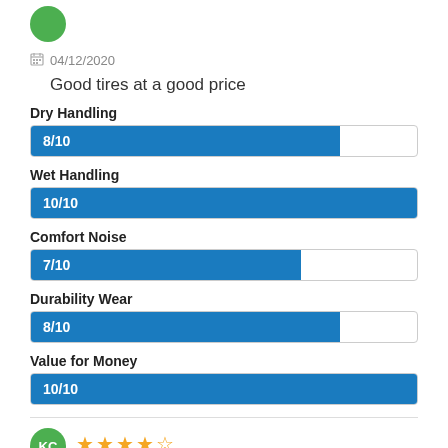[Figure (other): Green circle avatar icon at top]
04/12/2020
Good tires at a good price
[Figure (bar-chart): Dry Handling]
[Figure (bar-chart): Wet Handling]
[Figure (bar-chart): Comfort Noise]
[Figure (bar-chart): Durability Wear]
[Figure (bar-chart): Value for Money]
[Figure (other): Green circle with KC initials and 4.5 star rating]
28/11/2020